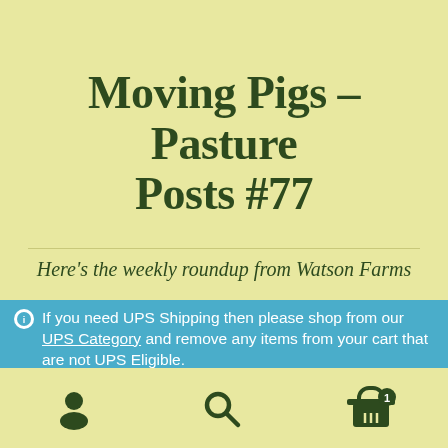Moving Pigs – Pasture Posts #77
Here's the weekly roundup from Watson Farms
If you need UPS Shipping then please shop from our UPS Category and remove any items from your cart that are not UPS Eligible.
Dismiss